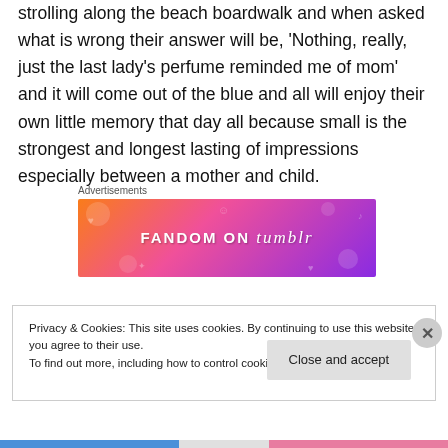strolling along the beach boardwalk and when asked what is wrong their answer will be, 'Nothing, really, just the last lady's perfume reminded me of mom' and it will come out of the blue and all will enjoy their own little memory that day all because small is the strongest and longest lasting of impressions especially between a mother and child.
[Figure (other): Fandom on Tumblr advertisement banner with orange-to-purple gradient background and decorative white doodles]
Privacy & Cookies: This site uses cookies. By continuing to use this website, you agree to their use.
To find out more, including how to control cookies, see here: Cookie Policy
Close and accept